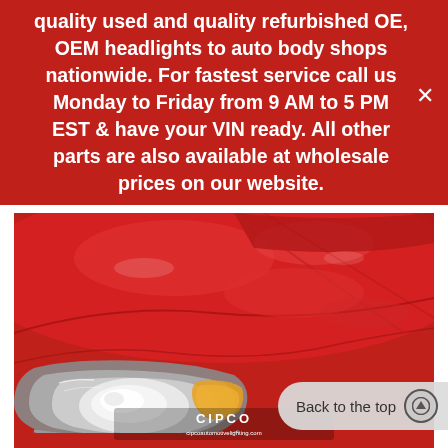quality used and quality refurbished OE, OEM headlights to auto body shops nationwide. For fastest service call us Monday to Friday from 9 AM to 5 PM EST & have your VIN ready. All other parts are also available at wholesale prices on our website.
[Figure (photo): Close-up photo of the front headlight and hood of a red Volkswagen Golf/Scirocco car. A CIPCO automotive lighting logo and website (cipcoautomotivelighting.com) watermark is visible in the lower center of the image. A 'Back to the top' button with an upward arrow circle is overlaid in the lower right corner.]